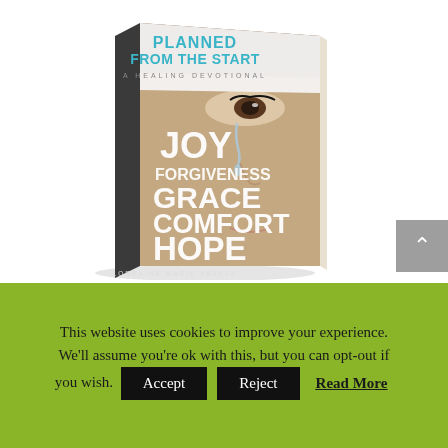[Figure (illustration): 3D book cover illustration of 'Planned From The Start - A Healing Devotional' by Lorraine Marie Varela. The cover shows a close-up photo of a woman's face with a tear, and text reading: JOY, FORGIVENESS, GRACE, COMFORT, HOPE. The title 'PLANNED FROM THE START' appears at the top in teal/blue bold letters.]
This website uses cookies to improve your experience. We'll assume you're ok with this, but you can opt-out if you wish. Accept Reject Read More